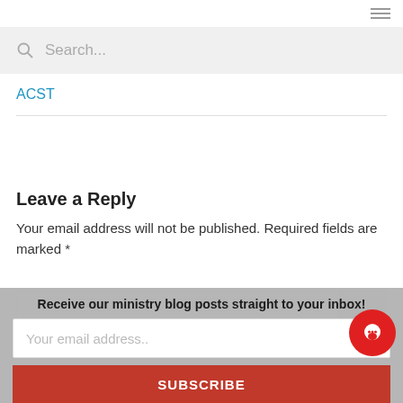Search...
ACST
Leave a Reply
Your email address will not be published. Required fields are marked *
Comment *
Receive our ministry blog posts straight to your inbox!
Your email address..
SUBSCRIBE